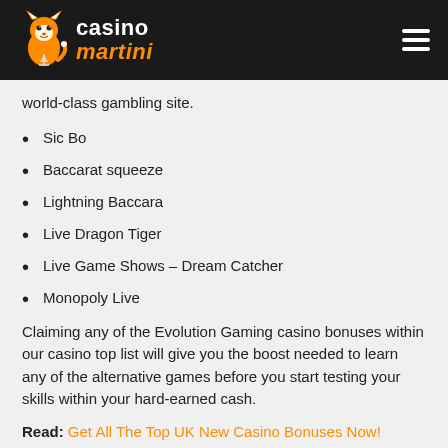casino martini
world-class gambling site.
Sic Bo
Baccarat squeeze
Lightning Baccara
Live Dragon Tiger
Live Game Shows – Dream Catcher
Monopoly Live
Claiming any of the Evolution Gaming casino bonuses within our casino top list will give you the boost needed to learn any of the alternative games before you start testing your skills within your hard-earned cash.
Read: Get All The Top UK New Casino Bonuses Now!
New Evolution Casino Site...